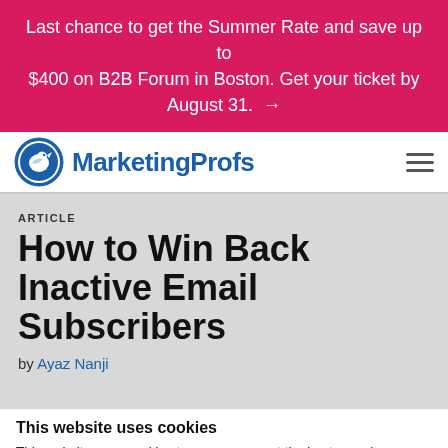Last chance to get the Summer Rate and save up to $400 on B2B Forum in Boston. Get your ticket by August 31. →
[Figure (logo): MarketingProfs logo with bird icon in a blue circle and the text MarketingProfs]
ARTICLE
How to Win Back Inactive Email Subscribers
by Ayaz Nanji
This website uses cookies
This website uses cookies to ensure you get the best experience. The cookie law requires us to let you know that we use cookies for personalization, website traffic analysis, 3rd party tracking, and website functionality. And